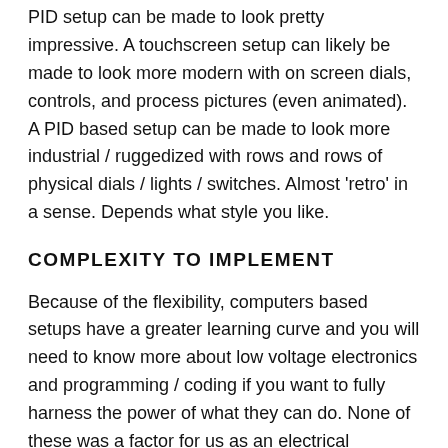PID setup can be made to look pretty impressive. A touchscreen setup can likely be made to look more modern with on screen dials, controls, and process pictures (even animated). A PID based setup can be made to look more industrial / ruggedized with rows and rows of physical dials / lights / switches. Almost 'retro' in a sense. Depends what style you like.
COMPLEXITY TO IMPLEMENT
Because of the flexibility, computers based setups have a greater learning curve and you will need to know more about low voltage electronics and programming / coding if you want to fully harness the power of what they can do. None of these was a factor for us as an electrical engineer (we're comfortable with this stuff). The same may not be true for others.